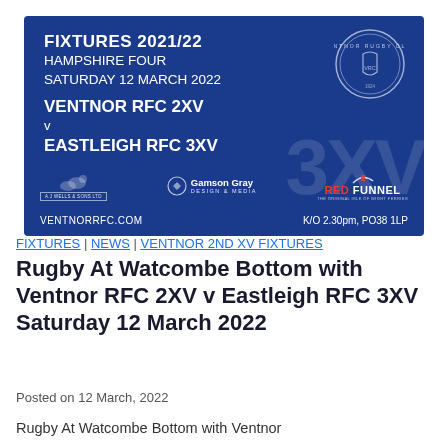[Figure (infographic): Ventnor RFC fixtures banner for 2021/22 season. Dark blue background. Text: FIXTURES 2021/22, HAMPSHIRE FOUR, SATURDAY 12 MARCH 2022, VENTNOR RFC 2XV v EASTLEIGH RFC 3XV. Sponsors: A.J Wells & Sons Ltd, Gamson Gray Design & Media, Red Funnel. Website: VENTNORRFC.COM. K/O 2.30pm, PO38 1LP. Ventnor Rugby Club crest top right. Large watermark '3XV' in background.]
FIXTURES | NEWS | VENTNOR 2ND XV FIXTURES
Rugby At Watcombe Bottom with Ventnor RFC 2XV v Eastleigh RFC 3XV Saturday 12 March 2022
Posted on 12 March, 2022
Rugby At Watcombe Bottom with Ventnor